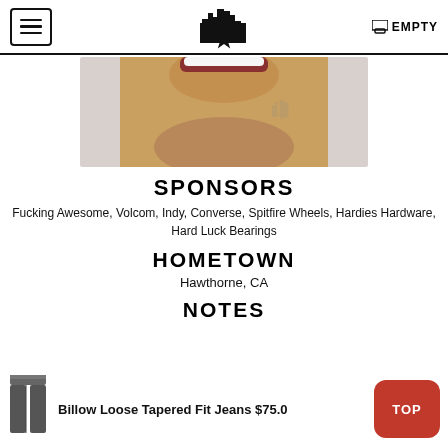EMPTY
[Figure (photo): Close-up photo of a young man's lower face/chin area, smiling, with a watermark logo of a city skyline with a star]
SPONSORS
Fucking Awesome, Volcom, Indy, Converse, Spitfire Wheels, Hardies Hardware, Hard Luck Bearings
HOMETOWN
Hawthorne, CA
NOTES
Billow Loose Tapered Fit Jeans $75.0